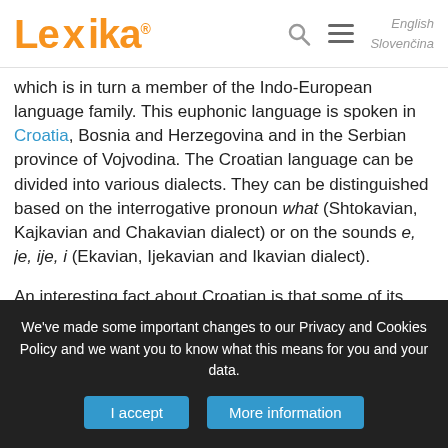Lexika | English | Slovenčina
which is in turn a member of the Indo-European language family. This euphonic language is spoken in Croatia, Bosnia and Herzegovina and in the Serbian province of Vojvodina. The Croatian language can be divided into various dialects. They can be distinguished based on the interrogative pronoun what (Shtokavian, Kajkavian and Chakavian dialect) or on the sounds e, je, ije, i (Ekavian, Ijekavian and Ikavian dialect).
An interesting fact about Croatian is that some of its dialects have been spoken in some villages in Western Slovakia up to the present day. It is a result of the immigration of Croatian colonists who settled in this area. Middle Chakavian is characterised by its archaic accent that is often described as melodic and free
We've made some important changes to our Privacy and Cookies Policy and we want you to know what this means for you and your data.